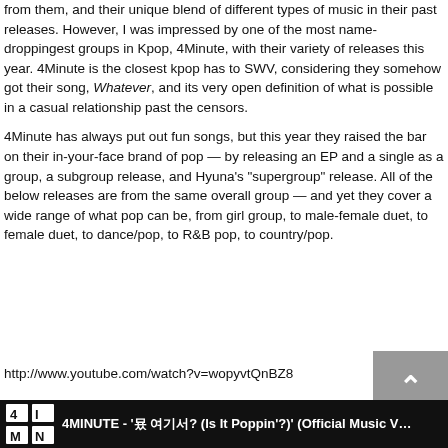from them, and their unique blend of different types of music in their past releases. However, I was impressed by one of the most name-droppingest groups in Kpop, 4Minute, with their variety of releases this year. 4Minute is the closest kpop has to SWV, considering they somehow got their song, Whatever, and its very open definition of what is possible in a casual relationship past the censors.
4Minute has always put out fun songs, but this year they raised the bar on their in-your-face brand of pop — by releasing an EP and a single as a group, a subgroup release, and Hyuna's "supergroup" release. All of the below releases are from the same overall group — and yet they cover a wide range of what pop can be, from girl group, to male-female duet, to female duet, to dance/pop, to R&B pop, to country/pop.
http://www.youtube.com/watch?v=wopyvtQnBZ8
4MINUTE - '? ???(Is It Poppin'?)' (Official Music V...